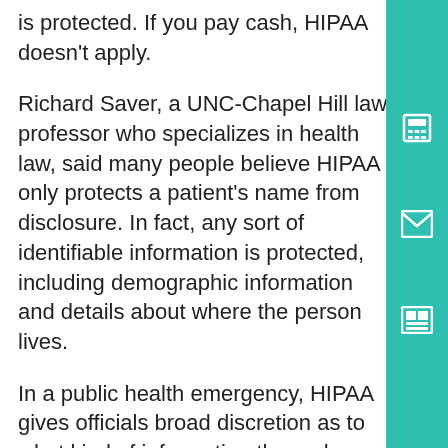is protected. If you pay cash, HIPAA doesn't apply.
Richard Saver, a UNC-Chapel Hill law professor who specializes in health law, said many people believe HIPAA only protects a patient's name from disclosure. In fact, any sort of identifiable information is protected, including demographic information and details about where the person lives.
In a public health emergency, HIPAA gives officials broad discretion as to what kind of information they release. But it's not the only law at work.
States, including North Carolina, have their own communicable disease laws. These laws regulate the reporting of cases of COVID-19 as well as more familiar diseases such as measles or flu. Johnson said that law, rather than HIPAA, generally governs what health officials can release